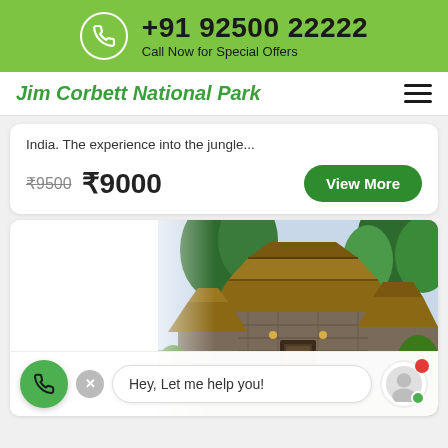+91 92500 22222 Call Now for Special Offers
Jim Corbett National Park
India. The experience into the jungle...
₹9500  ₹9000
[Figure (screenshot): Resort building with thatched roofs, stone walls, and tropical greenery — Jim Corbett National Park property]
Hey, Let me help you!